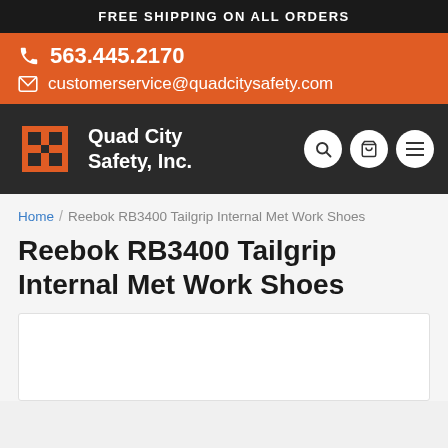FREE SHIPPING ON ALL ORDERS
563.445.2170
customerservice@quadcitysafety.com
[Figure (logo): Quad City Safety, Inc. logo with orange cross/arrow emblem and white text on dark background]
Home / Reebok RB3400 Tailgrip Internal Met Work Shoes
Reebok RB3400 Tailgrip Internal Met Work Shoes